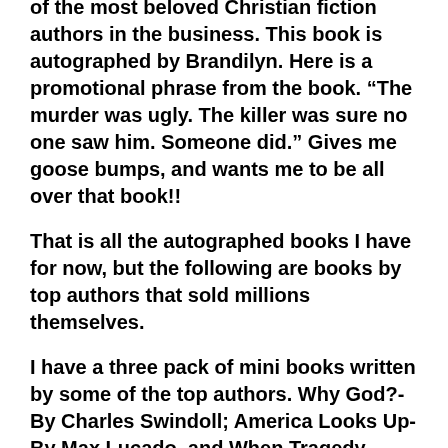of the most beloved Christian fiction authors in the business. This book is autographed by Brandilyn. Here is a promotional phrase from the book. “The murder was ugly. The killer was sure no one saw him. Someone did.” Gives me goose bumps, and wants me to be all over that book!!
That is all the autographed books I have for now, but the following are books by top authors that sold millions themselves.
I have a three pack of mini books written by some of the top authors. Why God?-By Charles Swindoll; America Looks Up-By Max Lucado, and When Tragedy Strikes-by Charles Stanley, will all go to one subscriber in one bundle. All of these books are very timely for what is happening in our world today.